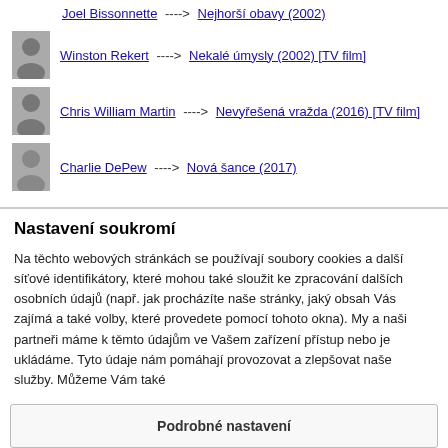Joel Bissonnette ----> Nejhorší obavy (2002)
Winston Rekert ----> Nekalé úmysly (2002) [TV film]
Chris William Martin ----> Nevyřešená vražda (2016) [TV film]
Charlie DePew ----> Nová šance (2017)
Nastavení soukromí
Na těchto webových stránkách se používají soubory cookies a další síťové identifikátory, které mohou také sloužit ke zpracování dalších osobních údajů (např. jak procházíte naše stránky, jaký obsah Vás zajímá a také volby, které provedete pomocí tohoto okna). My a naši partneři máme k těmto údajům ve Vašem zařízení přístup nebo je ukládáme. Tyto údaje nám pomáhají provozovat a zlepšovat naše služby. Můžeme Vám také
Podrobné nastavení
Rozumím a přijímám